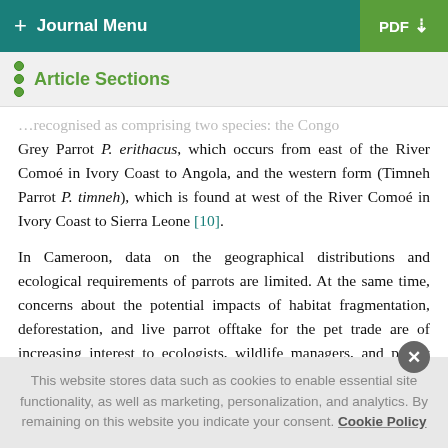+ Journal Menu | PDF ↓
Article Sections
...recognised as comprising two species: the Congo Grey Parrot P. erithacus, which occurs from east of the River Comoé in Ivory Coast to Angola, and the western form (Timneh Parrot P. timneh), which is found at west of the River Comoé in Ivory Coast to Sierra Leone [10].
In Cameroon, data on the geographical distributions and ecological requirements of parrots are limited. At the same time, concerns about the potential impacts of habitat fragmentation, deforestation, and live parrot offtake for the pet trade are of increasing interest to ecologists, wildlife managers, and policy makers [11]. For these reasons, data are needed for informed
This website stores data such as cookies to enable essential site functionality, as well as marketing, personalization, and analytics. By remaining on this website you indicate your consent. Cookie Policy